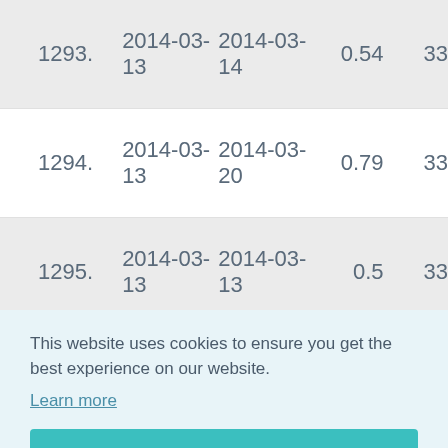| # | Date from | Date to | Value | ID |
| --- | --- | --- | --- | --- |
| 1293. | 2014-03-13 | 2014-03-14 | 0.54 | 33 |
| 1294. | 2014-03-13 | 2014-03-20 | 0.79 | 33 |
| 1295. | 2014-03-13 | 2014-03-13 | 0.5 | 33 |
|  |  |  |  | 33 |
|  |  |  |  | 34- |
This website uses cookies to ensure you get the best experience on our website. Learn more